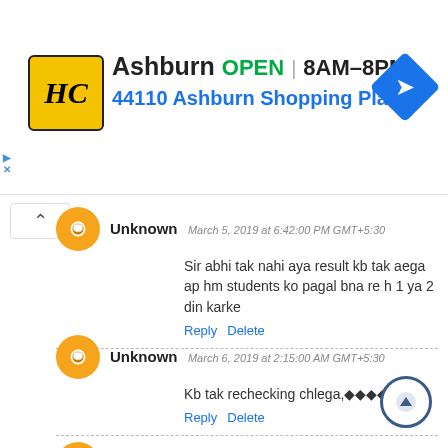[Figure (infographic): Ad banner: HC logo, Ashburn OPEN 8AM-8PM, 44110 Ashburn Shopping Plaz..., navigation arrow icon]
Unknown  March 5, 2019 at 6:42:00 PM GMT+5:30
Sir abhi tak nahi aya result kb tak aega ap hm students ko pagal bna re h 1 ya 2 din karke
Reply  Delete
Unknown  March 6, 2019 at 2:15:00 AM GMT+5:30
Kb tak rechecking chlega,
Reply  Delete
Unknown  March 6, 2019 at 2:16:00 AM GMT+5:30
Kb tak rechecking chlega
Reply  Delete